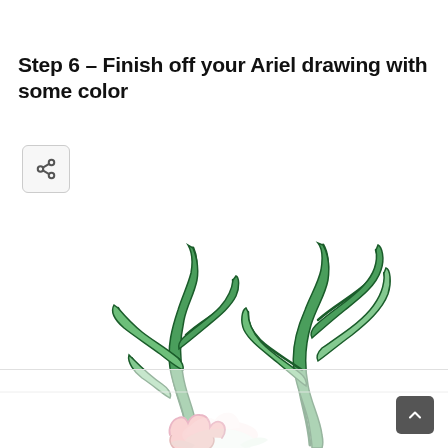Step 6 – Finish off your Ariel drawing with some color
[Figure (illustration): Colored illustration showing seaweed/kelp plants in green with a partial view of Ariel the mermaid with pink hair at the bottom, floating underwater. The seaweed has dark green outlines with lighter green and yellow-green fills. A faded/watermarked Disney-style Ariel figure appears at the very bottom.]
[Figure (screenshot): Share button icon (less-than symbol) in a rounded square button]